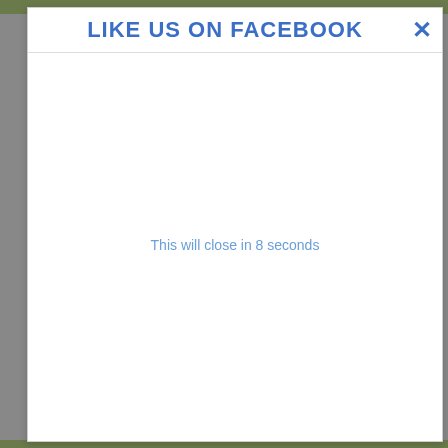[Figure (screenshot): Background photo strip at top and bottom showing greenery/garden scene]
LIKE US ON FACEBOOK ✕
This will close in 8 seconds